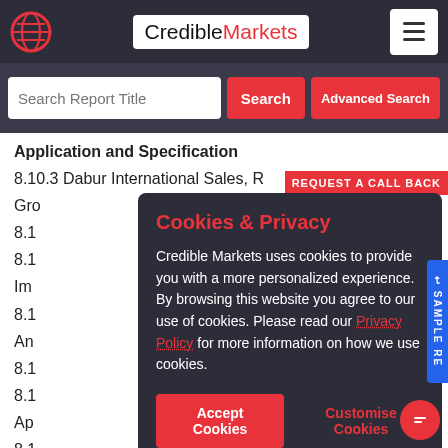CredibleMarkets
Search Report Title
Application and Specification
8.10.3 Dabur International Sales, R
Gro
8.1
8.1 Im
8.1 An
8.1
8.1 Ap
8.1 Pri
8.11.4 Company Recent Development
Cookies & Privacy
Credible Markets uses cookies to provide you with a more personalized experience. By browsing this website you agree to our use of cookies. Please read our Privacy Policy for more information on how we use cookies.
Accept Cookies | Customise Cookies